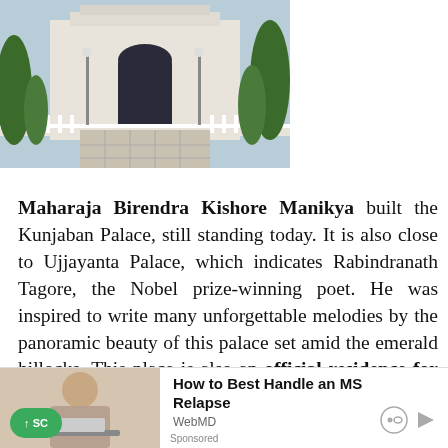[Figure (photo): A pathway leading to a white colonial-style palace building, flanked by green plants and trees, with a red carpet and decorative white fence railing visible.]
Maharaja Birendra Kishore Manikya built the Kunjaban Palace, still standing today. It is also close to Ujjayanta Palace, which indicates Rabindranath Tagore, the Nobel prize-winning poet. He was inspired to write many unforgettable melodies by the panoramic beauty of this palace set amid the emerald hillocks. This place is also an official residence for the Governor of Tripura and has magnificent gardens, lawns, and yards worth viewing. The southern half of the garden, known as "Rabindra Kann..." is available to the public
[Figure (other): Advertisement banner: How to Best Handle an MS Relapse - WebMD. Sponsored ad with image of a woman and WebMD branding.]